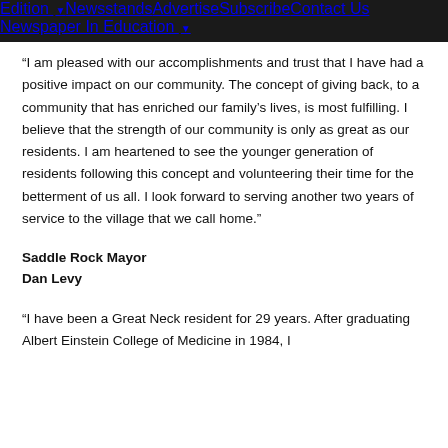Edition ▾  Newsstands  Advertise  Subscribe  Contact Us  Newspaper In Education ▾
“I am pleased with our accomplishments and trust that I have had a positive impact on our community. The concept of giving back, to a community that has enriched our family’s lives, is most fulfilling. I believe that the strength of our community is only as great as our residents. I am heartened to see the younger generation of residents following this concept and volunteering their time for the betterment of us all. I look forward to serving another two years of service to the village that we call home.”
Saddle Rock Mayor
Dan Levy
“I have been a Great Neck resident for 29 years. After graduating Albert Einstein College of Medicine in 1984, I